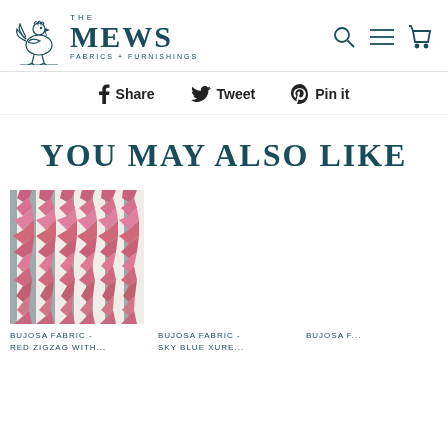THE MEWS FABRICS + FURNISHINGS
Share  Tweet  Pin it
YOU MAY ALSO LIKE
[Figure (photo): Bujosa fabric swatch showing pink and grey ikat zigzag chevron pattern on white background]
BUJOSA FABRIC - RED ZIGZAG WITH...
BUJOSA FABRIC - SKY BLUE XURE...
BUJOSA F... MULTI...